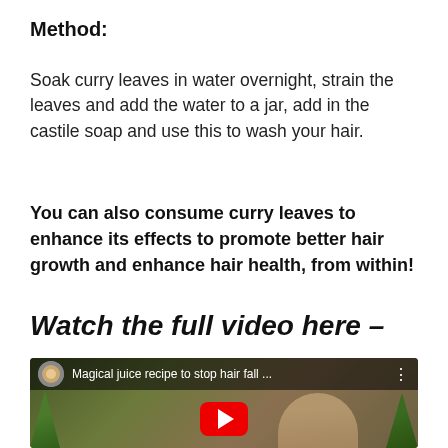Method:
Soak curry leaves in water overnight, strain the leaves and add the water to a jar, add in the castile soap and use this to wash your hair.
You can also consume curry leaves to enhance its effects to promote better hair growth and enhance hair health, from within!
Watch the full video here –
[Figure (screenshot): YouTube video thumbnail showing 'Magical juice recipe to stop hair fall ...' with a red play button, hands holding a glass jar, and green plants in the background.]